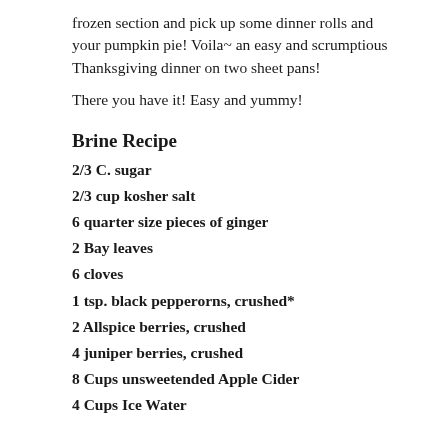frozen section and pick up some dinner rolls and your pumpkin pie! Voila~ an easy and scrumptious Thanksgiving dinner on two sheet pans!
There you have it! Easy and yummy!
Brine Recipe
2/3 C. sugar
2/3 cup kosher salt
6 quarter size pieces of ginger
2 Bay leaves
6 cloves
1 tsp. black pepperorns, crushed*
2 Allspice berries, crushed
4 juniper berries, crushed
8 Cups unsweetended Apple Cider
4 Cups Ice Water